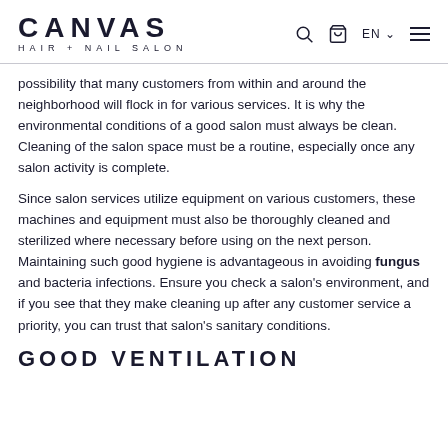CANVAS HAIR + NAIL SALON
possibility that many customers from within and around the neighborhood will flock in for various services. It is why the environmental conditions of a good salon must always be clean. Cleaning of the salon space must be a routine, especially once any salon activity is complete.
Since salon services utilize equipment on various customers, these machines and equipment must also be thoroughly cleaned and sterilized where necessary before using on the next person. Maintaining such good hygiene is advantageous in avoiding fungus and bacteria infections. Ensure you check a salon's environment, and if you see that they make cleaning up after any customer service a priority, you can trust that salon's sanitary conditions.
GOOD VENTILATION